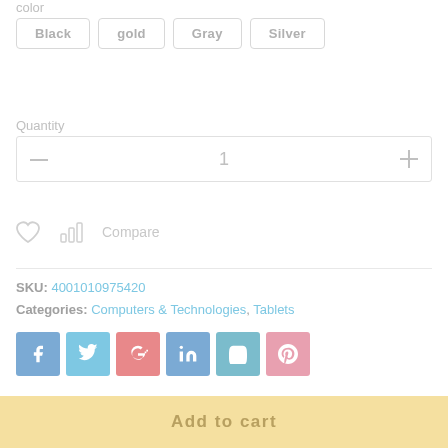color
Black
gold
Gray
Silver
Quantity
1
[Figure (other): Wishlist heart icon and compare bar chart icon with Compare text]
SKU: 4001010975420
Categories: Computers & Technologies, Tablets
[Figure (other): Social media share buttons: Facebook, Twitter, Google+, LinkedIn, VK, Pinterest]
Add to cart